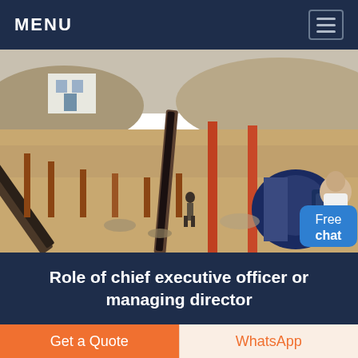MENU
[Figure (photo): Industrial mining/crushing plant with conveyor belts, machinery, and equipment on a sandy terrain with buildings and hills in the background]
Role of chief executive officer or managing director
The next executive in an organisation is...
Get a Quote
WhatsApp